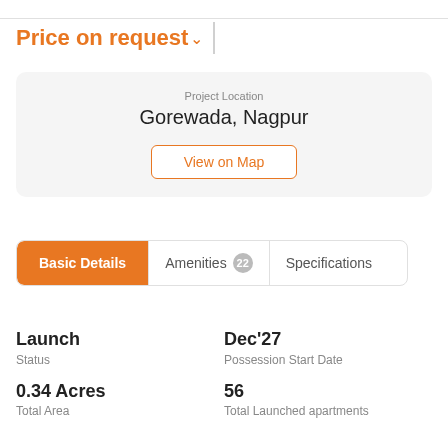Price on request
Project Location
Gorewada, Nagpur
View on Map
Basic Details
Amenities 22
Specifications
|  |  |
| --- | --- |
| Launch | Dec'27 |
| Status | Possession Start Date |
| 0.34 Acres | 56 |
| Total Area | Total Launched apartments |